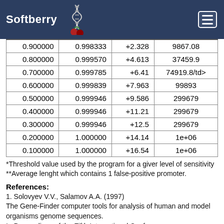Softberry
| 0.900000 | 0.998333 | +2.328 | 9867.08 |
| 0.800000 | 0.999570 | +4.613 | 37459.9 |
| 0.700000 | 0.999785 | +6.41 | 74919.8/td> |
| 0.600000 | 0.999839 | +7.963 | 99893 |
| 0.500000 | 0.999946 | +9.586 | 299679 |
| 0.400000 | 0.999946 | +11.21 | 299679 |
| 0.300000 | 0.999946 | +12.5 | 299679 |
| 0.200000 | 1.000000 | +14.14 | 1e+06 |
| 0.100000 | 1.000000 | +16.54 | 1e+06 |
*Threshold value used by the program for a giver level of sensitivity
**Average lenght which contains 1 false-positive promoter.
References:
1. Solovyev V.V., Salamov A.A. (1997)
The Gene-Finder computer tools for analysis of human and model organisms genome sequences.
In Proceedings of the Fifth International Conference on